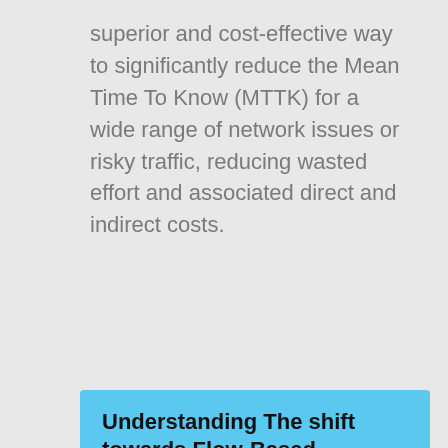superior and cost-effective way to significantly reduce the Mean Time To Know (MTTK) for a wide range of network issues or risky traffic, reducing wasted effort and associated direct and indirect costs.
Understanding The shift towards Flow-Based Metadata for Network and Cloud Cyber-Intelligence
The IT infrastructure is continually growing in complexity.
Deploying packet capture across an